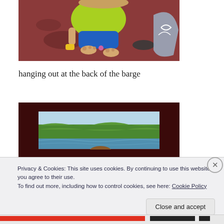[Figure (photo): Overhead/top-down photo of a child in a yellow-green shirt and blue shorts standing on a boat deck, barefoot, holding something yellow. Dark reddish boat floor visible with a flipflop and a blue bag.]
hanging out at the back of the barge
[Figure (photo): Photo taken from inside a boat looking out through a window framed in dark red/maroon. Outside shows a river or lake scene with green trees on the bank and calm water. A child's head is visible at the bottom of the frame.]
Privacy & Cookies: This site uses cookies. By continuing to use this website, you agree to their use.
To find out more, including how to control cookies, see here: Cookie Policy
Close and accept